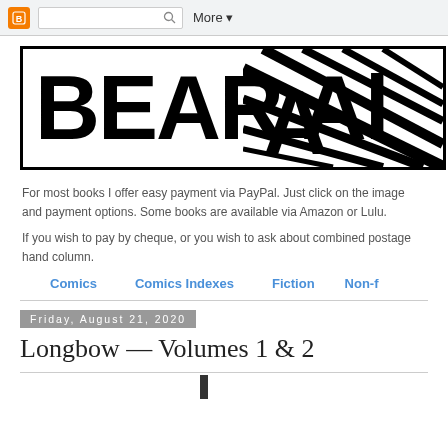[Figure (logo): Blogger icon orange square with B]
[Figure (screenshot): Bear Alley blog header banner with large bold text BEAR AL... and diagonal stripe graphic on right]
For most books I offer easy payment via PayPal. Just click on the image and payment options. Some books are available via Amazon or Lulu.
If you wish to pay by cheque, or you wish to ask about combined postage hand column.
Comics    Comics Indexes    Fiction    Non-f
Friday, August 21, 2020
Longbow — Volumes 1 & 2